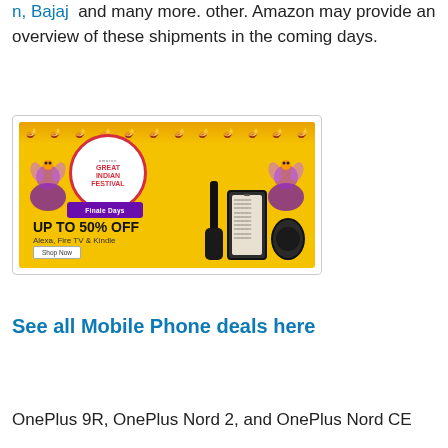n, Bajaj and many more. other. Amazon may provide an overview of these shipments in the coming days.
[Figure (infographic): Amazon Great Indian Festival - Finale Days banner. Yellow background with festive decorations. Shows 'UP TO 50% OFF' on Alexa, Fire TV & Kindle with product images (Fire TV Stick, Kindle e-reader, Echo Dot). Features a circular logo with 'GREAT INDIAN FESTIVAL' and 'Finale Days' ribbon. Shop Now button visible.]
See all Mobile Phone deals here
OnePlus 9R, OnePlus Nord 2, and OnePlus Nord CE